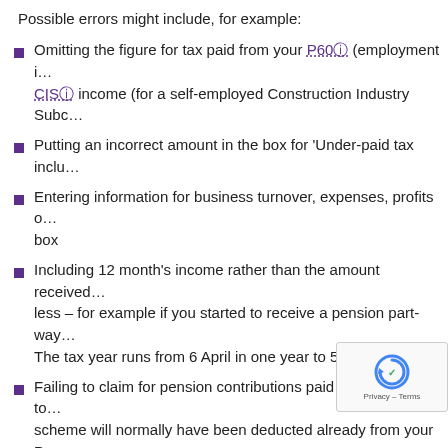Possible errors might include, for example:
Omitting the figure for tax paid from your P60 (employment income) or CIS income (for a self-employed Construction Industry Subc…
Putting an incorrect amount in the box for 'Under-paid tax inclu…
Entering information for business turnover, expenses, profits o… box
Including 12 month's income rather than the amount received … less – for example if you started to receive a pension part-way… The tax year runs from 6 April in one year to 5 April in the next
Failing to claim for pension contributions paid (amounts paid to… scheme will normally have been deducted already from your P… not need adjusting)
Not making a claim for an allowance you are entitled to, such a… Allowance – see Personal allowance
Failing to make a claim to transfer part of your personal allowa… civil partner. This is called the 'marriage allowance'… tax year. See Personal allowance section for detail…
Leaving out a claim for employee expenses or fixed rate ded…